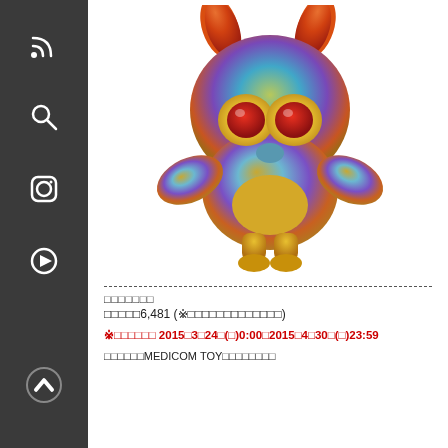[Figure (photo): Colorful metallic toy figure (monster/creature) with large red eyes, devil horns in orange/red gradient, rainbow metallic body in blue/purple/gold tones, standing with arms outstretched. MEDICOM TOY product.]
□□□□□□□
□□□□□6,481 (※□□□□□□□□□□□□□)
※□□□□□□ 2015□3□24□(□)0:00□2015□4□30□(□)23:59
□□□□□□MEDICOM TOY□□□□□□□□